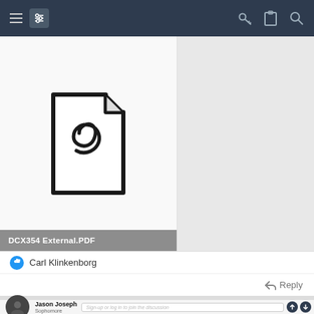Navigation bar with hamburger menu, mixer/filter icon, key icon, clipboard icon, and search icon
[Figure (screenshot): PDF file attachment icon (generic document with folded corner and Adobe Acrobat logo symbol)]
DCX354 External.PDF
Carl Klinkenborg
Reply
Jason Joseph
Sophomore
Sign-up or log in to join the discussion